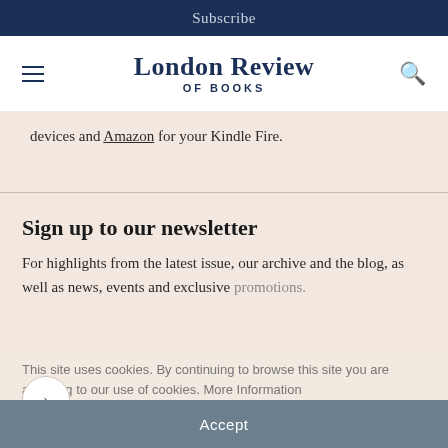Subscribe
London Review OF BOOKS
devices and Amazon for your Kindle Fire.
Sign up to our newsletter
For highlights from the latest issue, our archive and the blog, as well as news, events and exclusive promotions.
This site uses cookies. By continuing to browse this site you are agreeing to our use of cookies. More Information
Accept